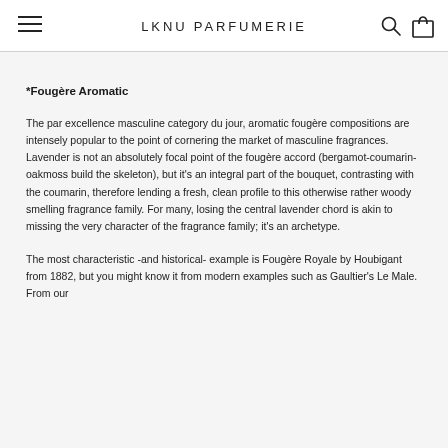LKNU PARFUMERIE
*Fougère Aromatic
The par excellence masculine category du jour, aromatic fougère compositions are intensely popular to the point of cornering the market of masculine fragrances. Lavender is not an absolutely focal point of the fougère accord (bergamot-coumarin-oakmoss build the skeleton), but it's an integral part of the bouquet, contrasting with the coumarin, therefore lending a fresh, clean profile to this otherwise rather woody smelling fragrance family. For many, losing the central lavender chord is akin to missing the very character of the fragrance family; it's an archetype.
The most characteristic -and historical- example is Fougère Royale by Houbigant from 1882, but you might know it from modern examples such as Gaultier's Le Male. From our